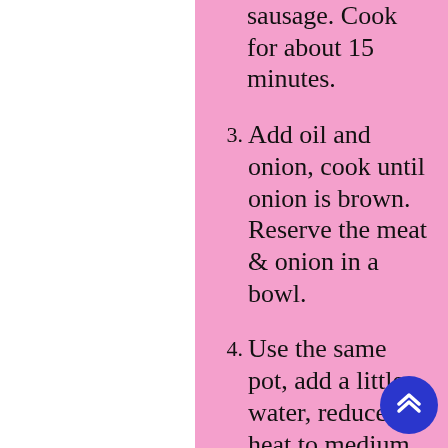sausage. Cook for about 15 minutes.
3. Add oil and onion, cook until onion is brown. Reserve the meat & onion in a bowl.
4. Use the same pot, add a little water, reduce heat to medium. Fill the pot with cabbage and cover. Check often, stirring cabbage until the cabbage wilts, adding water as needed.